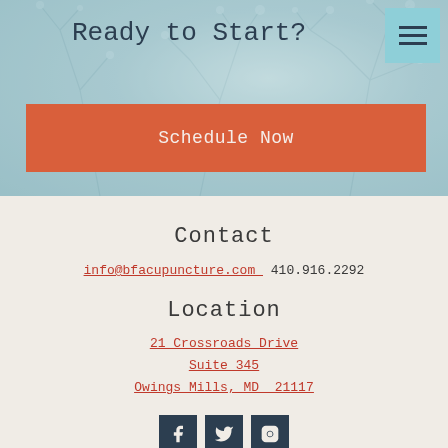Ready to Start?
Schedule Now
Contact
info@bfacupuncture.com   410.916.2292
Location
21 Crossroads Drive
Suite 345
Owings Mills, MD  21117
[Figure (other): Social media icons for Facebook, Twitter, and Instagram]